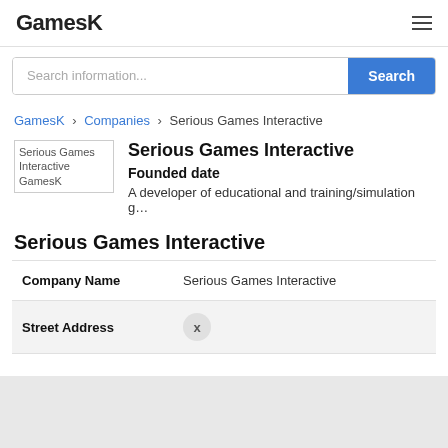GamesK
Search information...
GamesK > Companies > Serious Games Interactive
[Figure (other): Serious Games Interactive GamesK logo placeholder image]
Serious Games Interactive
Founded date
A developer of educational and training/simulation g...
Serious Games Interactive
| Company Name | Serious Games Interactive |
| Street Address | x |